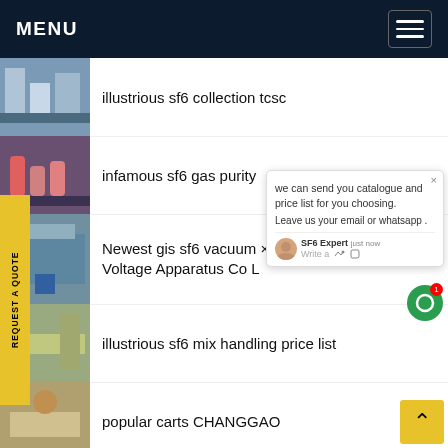MENU
illustrious sf6 collection tcsc
infamous sf6 gas purity
Newest gis sf6 vacuum × Voltage Apparatus Co L
illustrious sf6 mix handling price list
popular carts CHANGGAO
widely known sf6 mix deivces Anhui Huaikai
REQUEST A QUOTE
we can send you catalogue and price list for you choosing.
Leave us your email or whatsapp .
SF6 Expert  just now
Write a